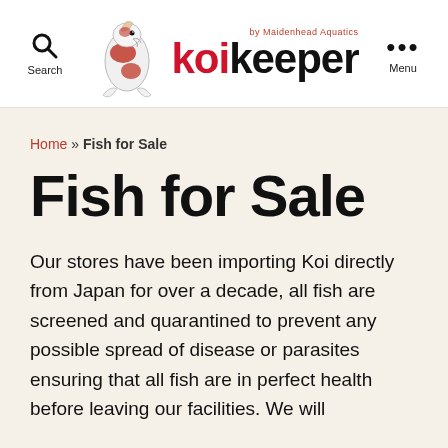Search | koi keeper by Maidenhead Aquatics | Menu
Home » Fish for Sale
Fish for Sale
Our stores have been importing Koi directly from Japan for over a decade, all fish are screened and quarantined to prevent any possible spread of disease or parasites ensuring that all fish are in perfect health before leaving our facilities. We will